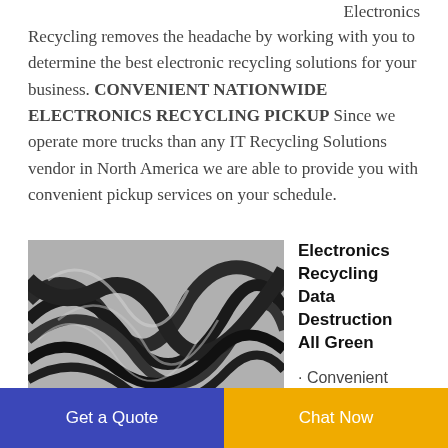Electronics Recycling removes the headache by working with you to determine the best electronic recycling solutions for your business. CONVENIENT NATIONWIDE ELECTRONICS RECYCLING PICKUP Since we operate more trucks than any IT Recycling Solutions vendor in North America we are able to provide you with convenient pickup services on your schedule.
[Figure (photo): Close-up photo of tangled dark cables or wire materials, with a blue circular logo/marking partially visible at the bottom.]
Electronics Recycling Data Destruction All Green
· Convenient